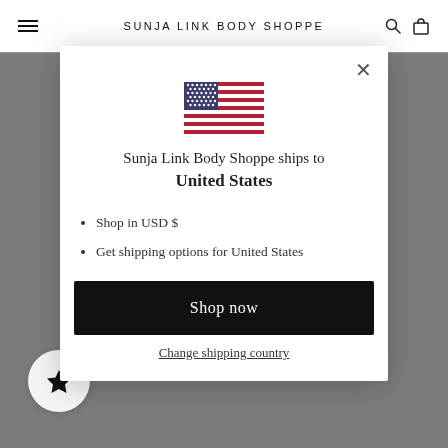SUNJA LINK BODY SHOPPE
[Figure (screenshot): Modal dialog showing US flag, shipping destination text, bullet list, Shop now button, and Change shipping country link on a dimmed website background]
Sunja Link Body Shoppe ships to United States
Shop in USD $
Get shipping options for United States
Shop now
Change shipping country